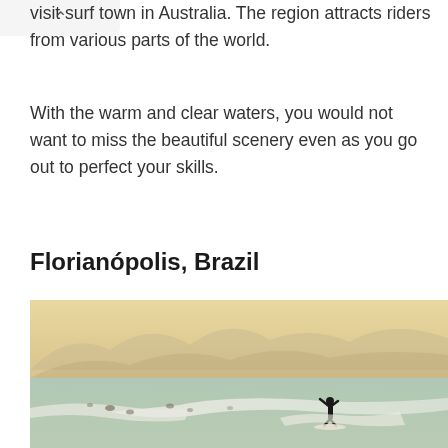visit surf town in Australia. The region attracts riders from various parts of the world.
With the warm and clear waters, you would not want to miss the beautiful scenery even as you go out to perfect your skills.
Florianópolis, Brazil
[Figure (photo): A surfer riding a wave with mountains visible in a hazy golden background, with other surfers visible in the water. Florianópolis, Brazil coastal surfing scene.]